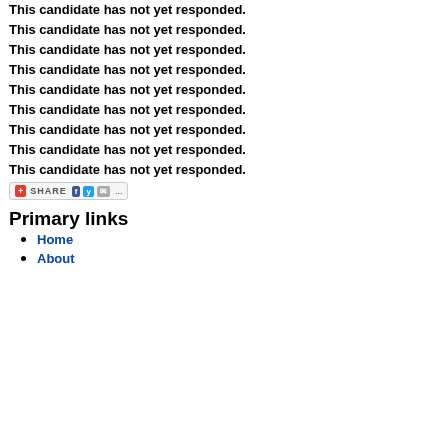This candidate has not yet responded.
This candidate has not yet responded.
This candidate has not yet responded.
This candidate has not yet responded.
This candidate has not yet responded.
This candidate has not yet responded.
This candidate has not yet responded.
This candidate has not yet responded.
This candidate has not yet responded.
[Figure (other): Share bar with Facebook, Twitter, and email icons]
Primary links
Home
About